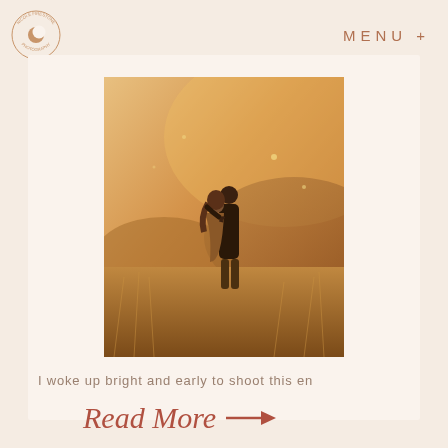[Figure (logo): Circular logo with crescent moon and text around the border reading 'Nicole Firestone Photography']
MENU +
[Figure (photo): A couple embracing in a golden field of tall dry grass, photographed during golden hour. Warm amber and brown tones throughout.]
I woke up bright and early to shoot this en
Read More →